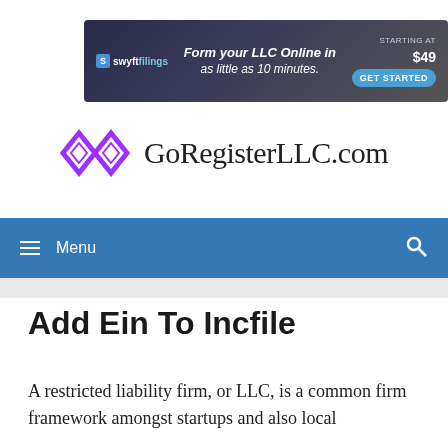[Figure (screenshot): Swyft Filings advertisement banner: 'Form your LLC Online in as little as 10 minutes. Starting at $49. Get Started.']
[Figure (logo): GoRegisterLLC.com logo with purple diamond/rhombus icon and serif text]
Menu
Add Ein To Incfile
A restricted liability firm, or LLC, is a common firm framework amongst startups and also local